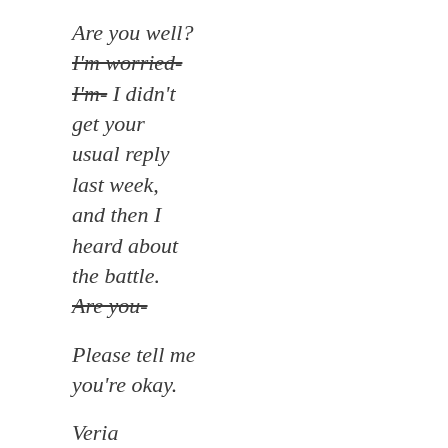Are you well? I'm worried- I'm- I didn't get your usual reply last week, and then I heard about the battle. Are you-

Please tell me you're okay.

Veria